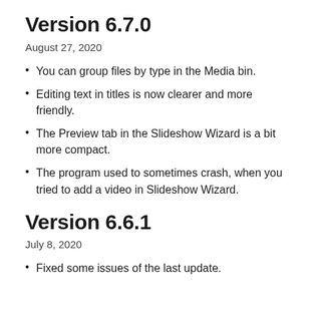Version 6.7.0
August 27, 2020
You can group files by type in the Media bin.
Editing text in titles is now clearer and more friendly.
The Preview tab in the Slideshow Wizard is a bit more compact.
The program used to sometimes crash, when you tried to add a video in Slideshow Wizard.
Version 6.6.1
July 8, 2020
Fixed some issues of the last update.